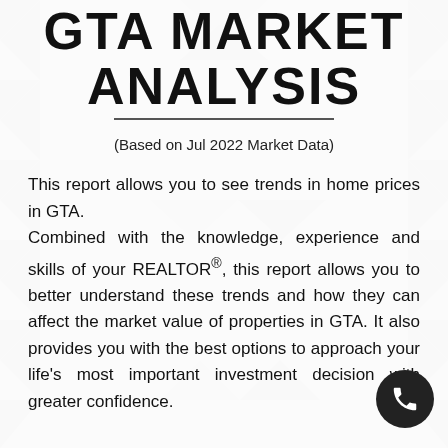GTA MARKET ANALYSIS
(Based on Jul 2022 Market Data)
This report allows you to see trends in home prices in GTA. Combined with the knowledge, experience and skills of your REALTOR®, this report allows you to better understand these trends and how they can affect the market value of properties in GTA. It also provides you with the best options to approach your life's most important investment decision with greater confidence.
[Figure (other): Phone call button icon (dark circle with phone handset icon)]